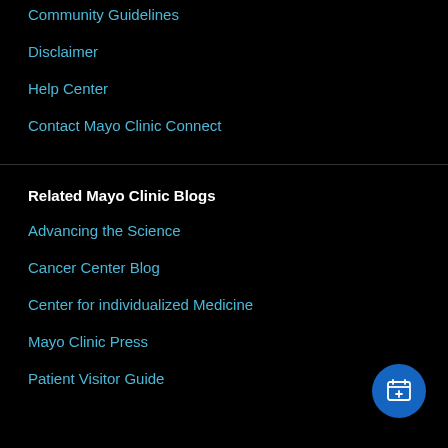Community Guidelines
Disclaimer
Help Center
Contact Mayo Clinic Connect
Related Mayo Clinic Blogs
Advancing the Science
Cancer Center Blog
Center for individualized Medicine
Mayo Clinic Press
Patient Visitor Guide